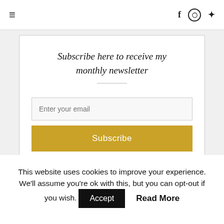≡  f  [instagram]  [pinterest]
Subscribe here to receive my monthly newsletter
Enter your email
Subscribe
powered by MailMunch
This website uses cookies to improve your experience. We'll assume you're ok with this, but you can opt-out if you wish. Accept  Read More